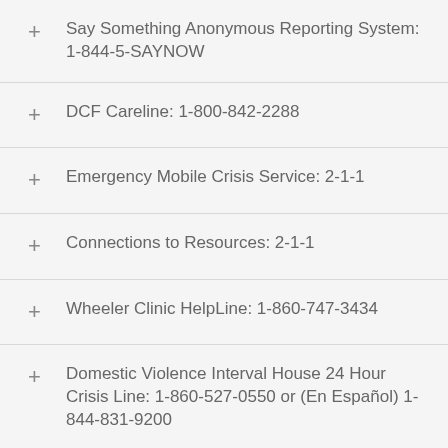Say Something Anonymous Reporting System: 1-844-5-SAYNOW
DCF Careline: 1-800-842-2288
Emergency Mobile Crisis Service: 2-1-1
Connections to Resources: 2-1-1
Wheeler Clinic HelpLine: 1-860-747-3434
Domestic Violence Interval House 24 Hour Crisis Line: 1-860-527-0550 or (En Español) 1-844-831-9200
Sexual Abuse Crisis Service: 1-860-547-1022 (Hartford) or (En Español, Todo el Estado) 1-888-568-8332
Greater Hartford Legal Aid: 1-860-541-5000